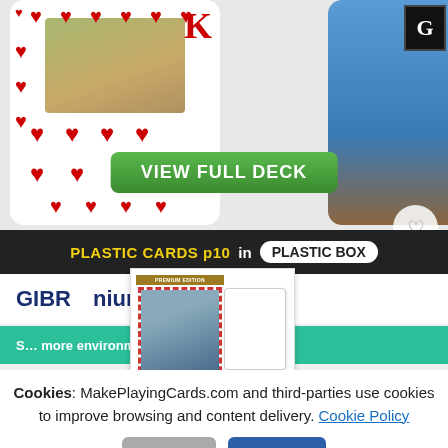[Figure (photo): Custom playing cards product image showing a heart King card with animal photo and a blue card on the right with a G badge]
[Figure (illustration): Green VIEW FULL DECK button]
PLASTIC CARDS p10 in PLASTIC BOX
GIBR... nium (Plastic Box)
[Figure (photo): Product thumbnail showing card deck and plastic box]
S... more environmentally friendly »
| Quantity | Price |
| --- | --- |
| 1-5 | $24.10 |
| 6-99 | $20.25 |
| 100-249 | $__.__15 |
| 250-499 | $__.__45 |
Cookies: MakePlayingCards.com and third-parties use cookies to improve browsing and content delivery. Cookie Policy
Reject  Accept